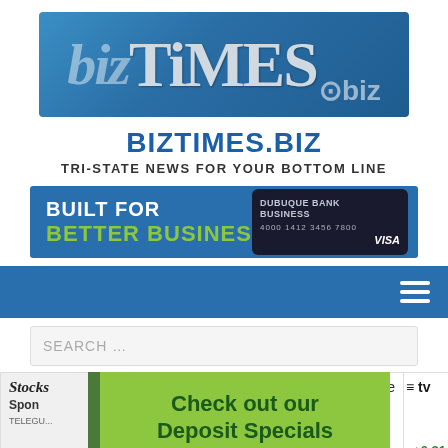[Figure (logo): bizTiMES.biz logo banner with blue gradient background, stylized text]
BIZTIMES.BIZ
TRI-STATE NEWS FOR YOUR BOTTOM LINE
[Figure (other): Advertisement banner: BUILT FOR BETTER BUSINESS - Dubuque Bank Business Visa card]
[Figure (other): Navigation bar with hamburger menu icon on blue background]
[Figure (other): Search input field with placeholder text SEARCH ...]
Stocks
S&P 500
Nasdaq 100
close
[Figure (other): Green advertisement overlay: Check out our Deposit Specials with tree illustration]
+0.31